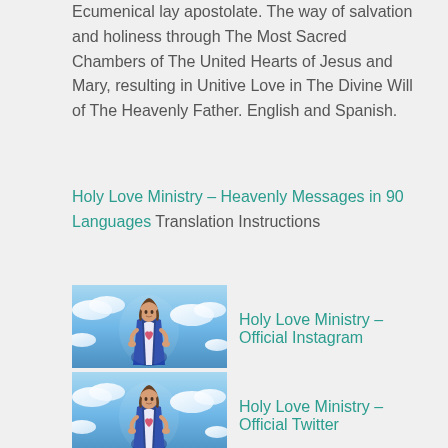Ecumenical lay apostolate. The way of salvation and holiness through The Most Sacred Chambers of The United Hearts of Jesus and Mary, resulting in Unitive Love in The Divine Will of The Heavenly Father. English and Spanish.
Holy Love Ministry – Heavenly Messages in 90 Languages Translation Instructions
[Figure (illustration): Religious illustration of Jesus in blue robes against a sky background, thumbnail image]
Holy Love Ministry – Official Instagram
[Figure (illustration): Religious illustration of Jesus in blue robes against a sky background, thumbnail image]
Holy Love Ministry – Official Twitter